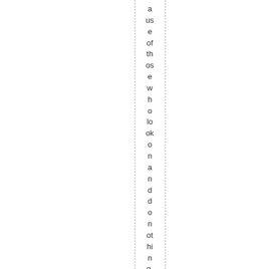a use of those who look on and do nothing." — Albert